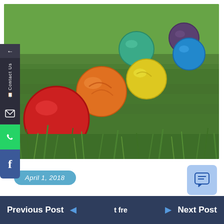[Figure (photo): Colorful bocce/croquet balls (red, orange, yellow, green, teal, blue, purple) resting in bright green grass]
Contact Us
April 1, 2018
Previous Post
t fre
Next Post